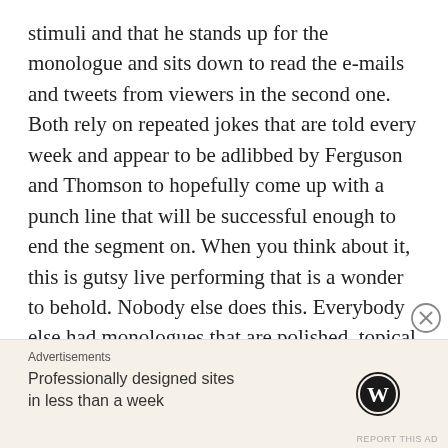stimuli and that he stands up for the monologue and sits down to read the e-mails and tweets from viewers in the second one. Both rely on repeated jokes that are told every week and appear to be adlibbed by Ferguson and Thomson to hopefully come up with a punch line that will be successful enough to end the segment on. When you think about it, this is gutsy live performing that is a wonder to behold. Nobody else does this. Everybody else had monologues that are polished, topical and get smaller laughs more often. Craig and Geoff crack me up though and there's an energy that comes from the comedians themselves not knowing how they are going to get to where we're headed. It's two mates basically trying to
[Figure (other): Advertisement banner with WordPress logo. Label: Advertisements. Text: Professionally designed sites in less than a week. WordPress circular logo icon on the right. Close (X) button top right. Report This Ad small text at bottom right.]